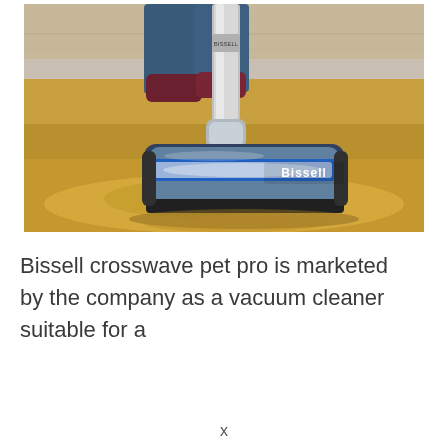[Figure (photo): Close-up photo of a Bissell CrossWave Pet Pro vacuum cleaner head on a mustard/golden yellow carpet, with a person's legs visible in the background wearing dark jeans and maroon socks. The vacuum head is blue, silver and black with 'Bissell' branding visible.]
Bissell crosswave pet pro is marketed by the company as a vacuum cleaner suitable for a